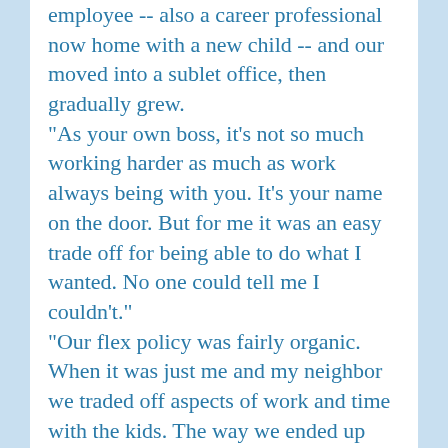employee -- also a career professional now home with a new child -- and our moved into a sublet office, then gradually grew. "As your own boss, it's not so much working harder as much as work always being with you. It's your name on the door. But for me it was an easy trade off for being able to do what I wanted. No one could tell me I couldn't." "Our flex policy was fairly organic. When it was just me and my neighbor we traded off aspects of work and time with the kids. The way we ended up having so many moms working flexibly was that's what we